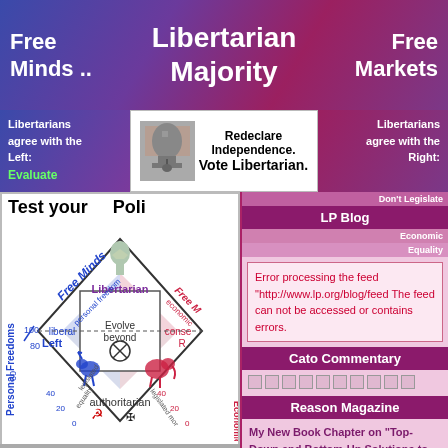Free Minds .. | Libertarian Majority | Free Markets
Libertarians agree with the Left: Evaluate | Redeclare Independence. Vote Libertarian. | Libertarians agree with the Right:
[Figure (infographic): Political compass diamond chart showing Libertarian at top, authoritarian at bottom, Left on left, Right on right. Labels: Free Minds, Free Markets, personal freedom, economic freedom, liberal, conservative, legislated equality, legislated morality. Scale from 0-100. Includes donkey (Democrat), elephant (Republican), communist/Nazi symbols at bottom. Statue of Liberty image at top center. Text: Test your Poli[tical...], Evolve beyond Left/Right]
LP Blog
Don't Legislate
Economic Equality
Error processing the feed "http://www.lp.org/blog/feed The feed can not be accessed or contains errors.
Cato Commentary
Reason Magazine
My New Book Chapter on "Top-Down and Bottom-Up Solutions to the Problem of Political Ignorance""